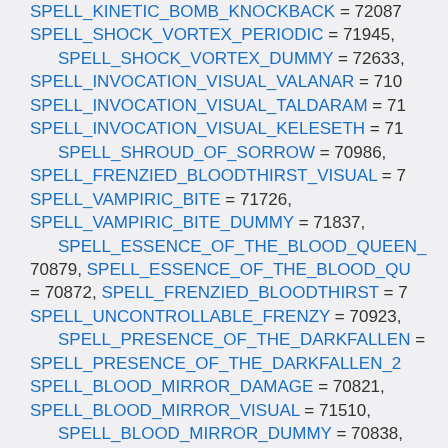SPELL_KINETIC_BOMB_KNOCKBACK = 72087, SPELL_SHOCK_VORTEX_PERIODIC = 71945, SPELL_SHOCK_VORTEX_DUMMY = 72633, SPELL_INVOCATION_VISUAL_VALANAR = 710..., SPELL_INVOCATION_VISUAL_TALDARAM = 71..., SPELL_INVOCATION_VISUAL_KELESETH = 71..., SPELL_SHROUD_OF_SORROW = 70986, SPELL_FRENZIED_BLOODTHIRST_VISUAL = 7..., SPELL_VAMPIRIC_BITE = 71726, SPELL_VAMPIRIC_BITE_DUMMY = 71837, SPELL_ESSENCE_OF_THE_BLOOD_QUEEN_... = 70879, SPELL_ESSENCE_OF_THE_BLOOD_QU... = 70872, SPELL_FRENZIED_BLOODTHIRST = 7..., SPELL_UNCONTROLLABLE_FRENZY = 70923, SPELL_PRESENCE_OF_THE_DARKFALLEN =..., SPELL_PRESENCE_OF_THE_DARKFALLEN_2..., SPELL_BLOOD_MIRROR_DAMAGE = 70821, SPELL_BLOOD_MIRROR_VISUAL = 71510, SPELL_BLOOD_MIRROR_DUMMY = 70838, SPELL_DELIRIOUS_SLASH = 71623, SPELL_PACT_OF_THE_DARKFALLEN_TARGE...